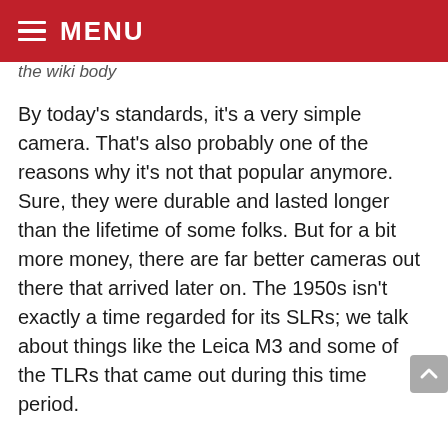MENU
the wiki body
By today's standards, it's a very simple camera. That's also probably one of the reasons why it's not that popular anymore. Sure, they were durable and lasted longer than the lifetime of some folks. But for a bit more money, there are far better cameras out there that arrived later on. The 1950s isn't exactly a time regarded for its SLRs; we talk about things like the Leica M3 and some of the TLRs that came out during this time period.
If you were to get an all-mechanical camera like the Exakta VX, there are much better options for not a whole lot more money. The Pentax Spotmatic